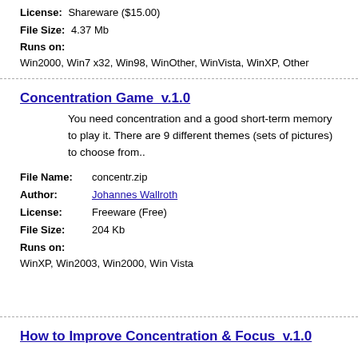License: Shareware ($15.00)
File Size: 4.37 Mb
Runs on: Win2000, Win7 x32, Win98, WinOther, WinVista, WinXP, Other
Concentration Game  v.1.0
You need concentration and a good short-term memory to play it. There are 9 different themes (sets of pictures) to choose from..
File Name: concentr.zip
Author: Johannes Wallroth
License: Freeware (Free)
File Size: 204 Kb
Runs on: WinXP, Win2003, Win2000, Win Vista
How to Improve Concentration & Focus  v.1.0